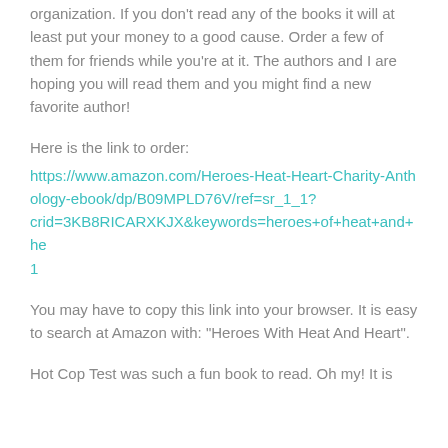organization. If you don't read any of the books it will at least put your money to a good cause. Order a few of them for friends while you're at it. The authors and I are hoping you will read them and you might find a new favorite author!
Here is the link to order:
https://www.amazon.com/Heroes-Heat-Heart-Charity-Anthology-ebook/dp/B09MPLD76V/ref=sr_1_1?crid=3KB8RICARXKJX&keywords=heroes+of+heat+and+he 1
You may have to copy this link into your browser. It is easy to search at Amazon with: "Heroes With Heat And Heart".
Hot Cop Test was such a fun book to read. Oh my! It is